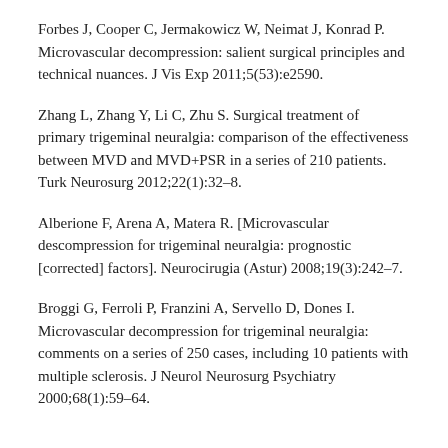Forbes J, Cooper C, Jermakowicz W, Neimat J, Konrad P. Microvascular decompression: salient surgical principles and technical nuances. J Vis Exp 2011;5(53):e2590.
Zhang L, Zhang Y, Li C, Zhu S. Surgical treatment of primary trigeminal neuralgia: comparison of the effectiveness between MVD and MVD+PSR in a series of 210 patients. Turk Neurosurg 2012;22(1):32–8.
Alberione F, Arena A, Matera R. [Microvascular descompression for trigeminal neuralgia: prognostic [corrected] factors]. Neurocirugia (Astur) 2008;19(3):242–7.
Broggi G, Ferroli P, Franzini A, Servello D, Dones I. Microvascular decompression for trigeminal neuralgia: comments on a series of 250 cases, including 10 patients with multiple sclerosis. J Neurol Neurosurg Psychiatry 2000;68(1):59–64.